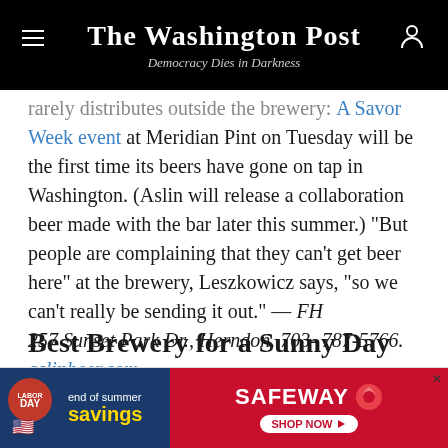The Washington Post — Democracy Dies in Darkness
rarely distributes outside the brewery: A Savor Week event at Meridian Pint on Tuesday will be the first time its beers have gone on tap in Washington. (Aslin will release a collaboration beer made with the bar later this summer.) "But people are complaining that they can't get beer here" at the brewery, Leszkowicz says, "so we can't really be sending it out." — FH
257 Sunset Park Dr., Herndon. 703- 787-5766. aslinbeer.com.
Best Brewery for a Sunny Day
[Figure (screenshot): Safeway end of summer savings advertisement banner with Labor Day badge and Shop Now button]